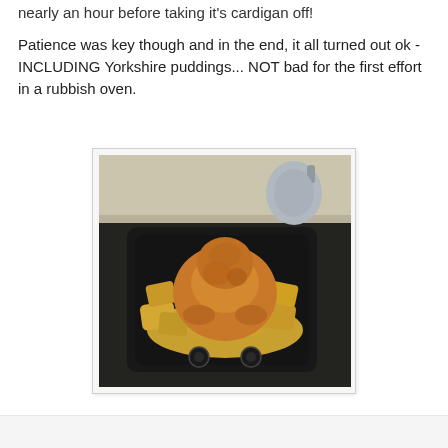nearly an hour before taking it's cardigan off!
Patience was key though and in the end, it all turned out ok - INCLUDING Yorkshire puddings... NOT bad for the first effort in a rubbish oven.
[Figure (photo): A whole roast chicken surrounded by roast potatoes in a black roasting tin on a dark oven hob. A silver kettle is visible in the background on a counter.]